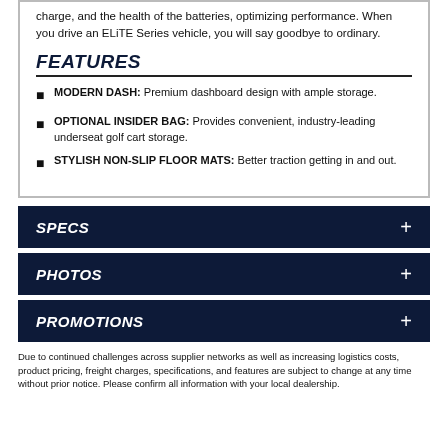charge, and the health of the batteries, optimizing performance. When you drive an ELiTE Series vehicle, you will say goodbye to ordinary.
FEATURES
MODERN DASH: Premium dashboard design with ample storage.
OPTIONAL INSIDER BAG: Provides convenient, industry-leading underseat golf cart storage.
STYLISH NON-SLIP FLOOR MATS: Better traction getting in and out.
SPECS
PHOTOS
PROMOTIONS
Due to continued challenges across supplier networks as well as increasing logistics costs, product pricing, freight charges, specifications, and features are subject to change at any time without prior notice. Please confirm all information with your local dealership.